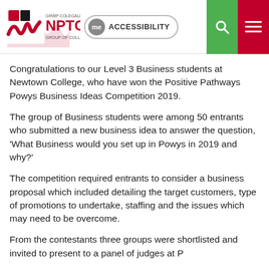NPTC Group of Colleges — ACCESSIBILITY — [search] [menu]
Congratulations to our Level 3 Business students at Newtown College, who have won the Positive Pathways Powys Business Ideas Competition 2019.
The group of Business students were among 50 entrants who submitted a new business idea to answer the question, 'What Business would you set up in Powys in 2019 and why?'
The competition required entrants to consider a business proposal which included detailing the target customers, type of promotions to undertake, staffing and the issues which may need to be overcome.
From the contestants three groups were shortlisted and invited to present to a panel of judges at P...